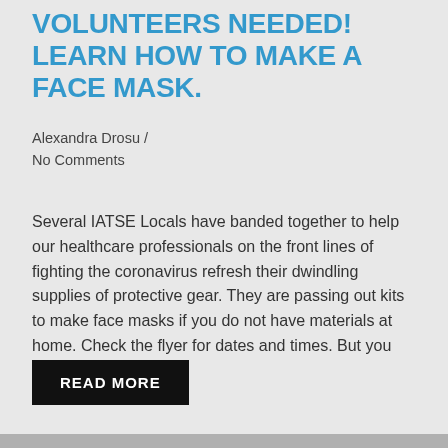VOLUNTEERS NEEDED! LEARN HOW TO MAKE A FACE MASK.
Alexandra Drosu /
No Comments
Several IATSE Locals have banded together to help our healthcare professionals on the front lines of fighting the coronavirus refresh their dwindling supplies of protective gear. They are passing out kits to make face masks if you do not have materials at home. Check the flyer for dates and times. But you also may want to…
READ MORE